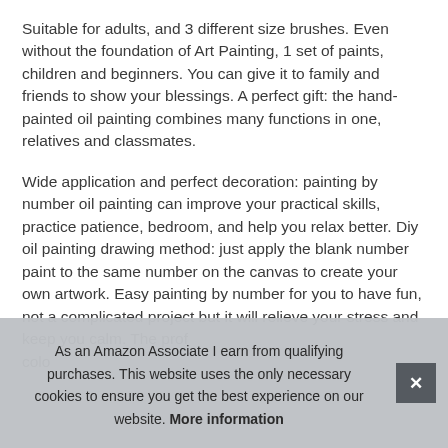Suitable for adults, and 3 different size brushes. Even without the foundation of Art Painting, 1 set of paints, children and beginners. You can give it to family and friends to show your blessings. A perfect gift: the hand-painted oil painting combines many functions in one, relatives and classmates.
Wide application and perfect decoration: painting by number oil painting can improve your practical skills, practice patience, bedroom, and help you relax better. Diy oil painting drawing method: just apply the blank number paint to the same number on the canvas to create your own artwork. Easy painting by number for you to have fun, not a complicated project but it will relieve your stress and keep you calm. The prof[essional] colo[rs...]
As an Amazon Associate I earn from qualifying purchases. This website uses the only necessary cookies to ensure you get the best experience on our website. More information